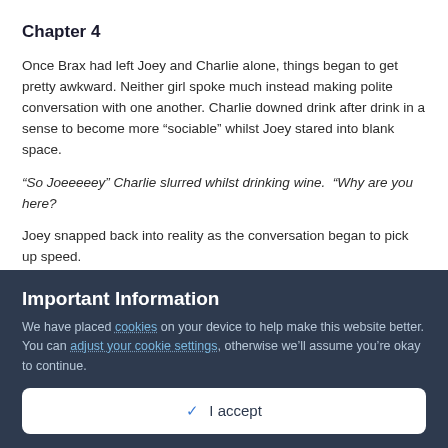Chapter 4
Once Brax had left Joey and Charlie alone, things began to get pretty awkward. Neither girl spoke much instead making polite conversation with one another. Charlie downed drink after drink in a sense to become more “sociable” whilst Joey stared into blank space.
“So Joeeeeey” Charlie slurred whilst drinking wine. “Why are you here?
Joey snapped back into reality as the conversation began to pick up speed.
“I um well I wanted to see you Charlie. Look I know that the past
Important Information
We have placed cookies on your device to help make this website better. You can adjust your cookie settings, otherwise we’ll assume you’re okay to continue.
✓  I accept